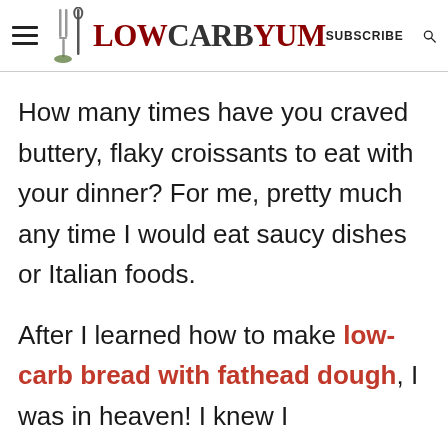LOW CARB YUM | SUBSCRIBE
How many times have you craved buttery, flaky croissants to eat with your dinner? For me, pretty much any time I would eat saucy dishes or Italian foods.
After I learned how to make low-carb bread with fathead dough, I was in heaven! I knew I